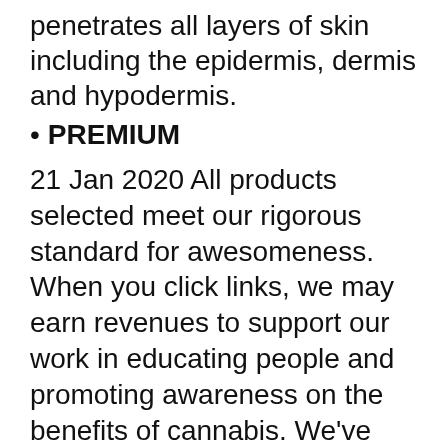penetrates all layers of skin including the epidermis, dermis and hypodermis.
PREMIUM
21 Jan 2020 All products selected meet our rigorous standard for awesomeness. When you click links, we may earn revenues to support our work in educating people and promoting awareness on the benefits of cannabis. We've done the
Terpene Profile. aphria-oil-THC-CBD-10-13-hybrid-capilano. THC:CBD 10:13 – Oil (Formerly Capilano). $100.00. How to Purchase. To purchase this strain, log into your Aphria account